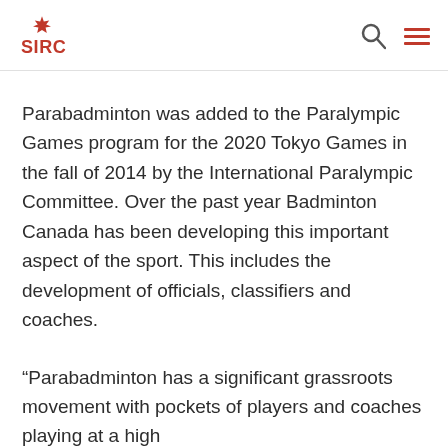SIRC
Parabadminton was added to the Paralympic Games program for the 2020 Tokyo Games in the fall of 2014 by the International Paralympic Committee. Over the past year Badminton Canada has been developing this important aspect of the sport. This includes the development of officials, classifiers and coaches.
“Parabadminton has a significant grassroots movement with pockets of players and coaches playing at a high